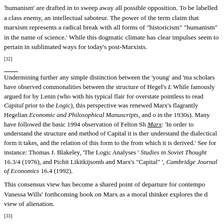'humanism' are drafted in to sweep away all possible opposition. To be labelled a class enemy, an intellectual saboteur. The power of the term claim that marxism represents a radical break with all forms of "historicism" "humanism" in the name of science.' While this dogmatic climate has clearly impulses seem to pertain in sublimated ways for today's post-Marxists.
[32] Undermining further any simple distinction between the 'young' and 'mature' Marx, scholars have observed commonalities between the structure of Hegel's Logic and Capital. While famously argued for by Lenin (who with his typical flair for overstatement called it pointless to read Capital prior to the Logic), this perspective was renewed following the discovery of Marx's flagrantly Hegelian Economic and Philosophical Manuscripts, and of Hegel's Logic in the 1930s). Many have followed the basic 1994 observation of Felton Shorthall's Incomplete Marx: 'In order to understand the structure and method of Capital it is therefore necessary to understand the dialectical form it takes, and the relation of this form to the logical categories from which it is derived.' See for instance: Thomas J. Blakeley, 'The Logic of Capital: Two Analyses' Studies in Soviet Thought 16.3/4 (1976), and Pichit Likitkijsomboon, 'Hegel's Logic and Marx's "Capital"', Cambridge Journal of Economics 16.4 (1992).
This consensus view has become a shared point of departure for contemporary scholars. Vanessa Wills' forthcoming book on Marx as a moral thinker explores the development of his view of alienation.
[33] Marxist Humanism is a tendency associated with several major schools: Hungary's 'Budapest School' (György Márkus and György Lukács), the US' Johnson-Forest tendency (Raya Dunayevskaya and C.L.R. James), USSR philosopher Evald Ilyenkov and his disciplines, the Frankfurt School, and Yugoslavia's Praxis magazine (Danko Grlić, Mihailo Marković and others). There has been a huge body of scholarship on each of these tendencies, their histories and contexts they operated within. To cite just one example: Aaron Jaffe, 'The Anthropological Turn: Márkus's philosophical anthropology: Rereading Marxism and Anthropology' and 'Human Essence' in the Philosophy of Marx', Thesis Eleven 126:1 (2015). More...